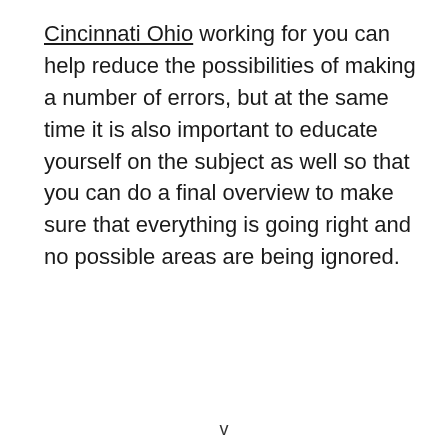Cincinnati Ohio working for you can help reduce the possibilities of making a number of errors, but at the same time it is also important to educate yourself on the subject as well so that you can do a final overview to make sure that everything is going right and no possible areas are being ignored.
v